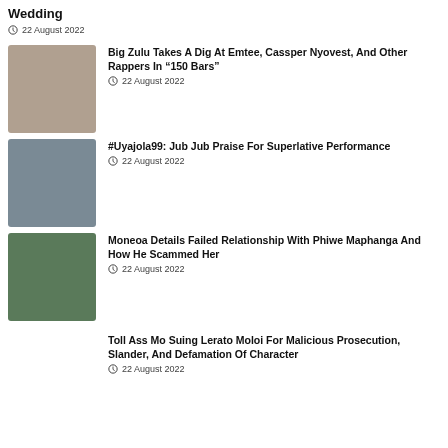Wedding
22 August 2022
Big Zulu Takes A Dig At Emtee, Cassper Nyovest, And Other Rappers In “150 Bars”
22 August 2022
#Uyajola99: Jub Jub Praise For Superlative Performance
22 August 2022
Moneoa Details Failed Relationship With Phiwe Maphanga And How He Scammed Her
22 August 2022
Toll Ass Mo Suing Lerato Moloi For Malicious Prosecution, Slander, And Defamation Of Character
22 August 2022